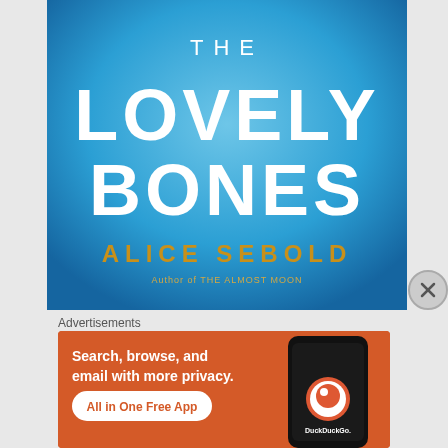[Figure (illustration): Book cover of 'The Lovely Bones' by Alice Sebold. Blue gradient background with white bold text 'THE LOVELY BONES' and gold text 'ALICE SEBOLD'. Below author name: 'Author of THE ALMOST MOON' in small text.]
Advertisements
[Figure (screenshot): DuckDuckGo advertisement on orange background. White text: 'Search, browse, and email with more privacy.' White rounded rectangle button with orange text: 'All in One Free App'. Right side shows a smartphone with DuckDuckGo logo and text 'DuckDuckGo.']